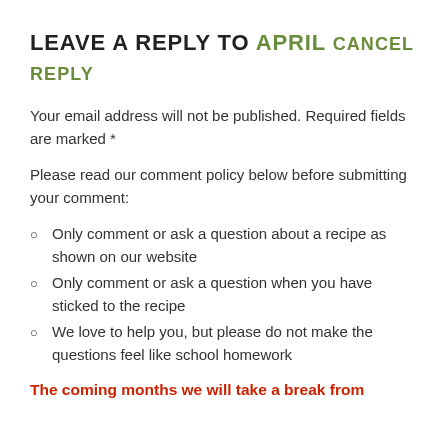LEAVE A REPLY TO APRIL CANCEL REPLY
Your email address will not be published. Required fields are marked *
Please read our comment policy below before submitting your comment:
Only comment or ask a question about a recipe as shown on our website
Only comment or ask a question when you have sticked to the recipe
We love to help you, but please do not make the questions feel like school homework
The coming months we will take a break from